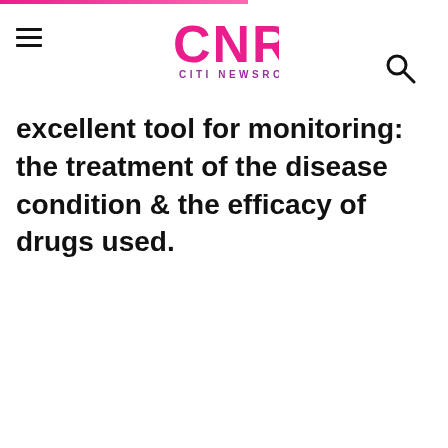CNR CITI NEWSROOM
excellent tool for monitoring: the treatment of the disease condition & the efficacy of drugs used.